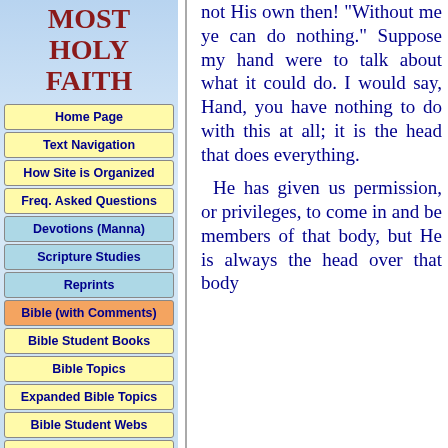MOST HOLY FAITH
Home Page
Text Navigation
How Site is Organized
Freq. Asked Questions
Devotions (Manna)
Scripture Studies
Reprints
Bible (with Comments)
Bible Student Books
Bible Topics
Expanded Bible Topics
Bible Student Webs
Miscellaneous
not His own then! "Without me ye can do nothing." Suppose my hand were to talk about what it could do. I would say, Hand, you have nothing to do with this at all; it is the head that does everything.

 He has given us permission, or privileges, to come in and be members of that body, but He is always the head over that body